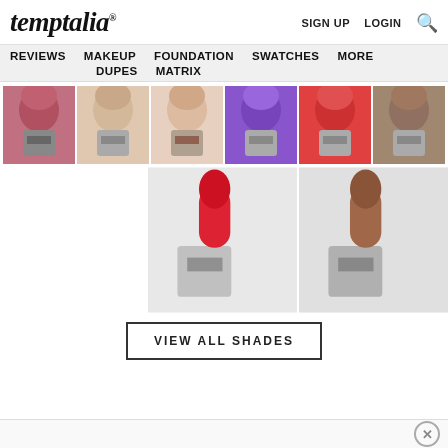temptalia® — SIGN UP  LOGIN  [search]
REVIEWS  MAKEUP  FOUNDATION  SWATCHES  MORE  DUPES  MATRIX
[Figure (photo): Grid of 8 MAC lipstick bullet product photos — row 1: deep pink/mauve, nude beige, light nude, bright purple, coral red, taupe/brown; row 2: bright red, warm brown]
VIEW ALL SHADES